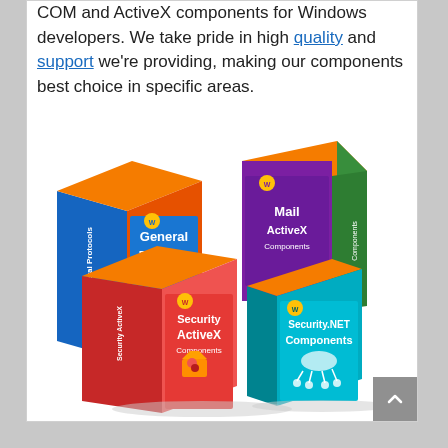COM and ActiveX components for Windows developers. We take pride in high quality and support we're providing, making our components best choice in specific areas.
[Figure (photo): Product box illustrations showing four software packages: General Protocols, Security ActiveX Components, Mail ActiveX Components, and Security NET Components — all branded with WLDnLYGO software logo, displayed in a 3D arranged stack.]